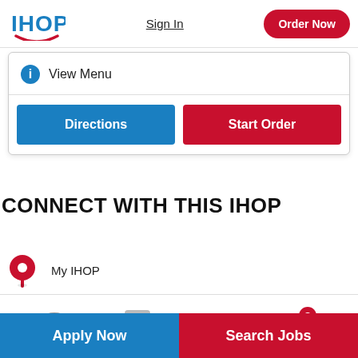[Figure (logo): IHOP logo with blue text and red smile arc]
Sign In
Order Now
View Menu
Directions
Start Order
CONNECT WITH THIS IHOP
My IHOP
Apply Now
Search Jobs